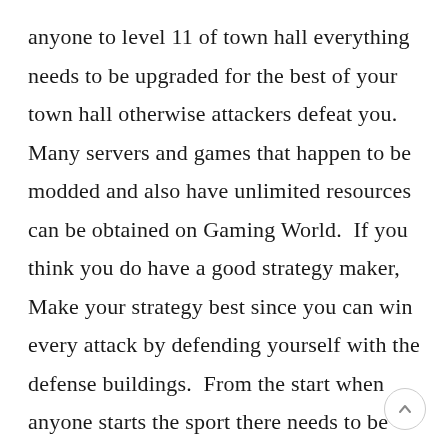anyone to level 11 of town hall everything needs to be upgraded for the best of your town hall otherwise attackers defeat you. Many servers and games that happen to be modded and also have unlimited resources can be obtained on Gaming World. If you think you do have a good strategy maker, Make your strategy best since you can win every attack by defending yourself with the defense buildings. From the start when anyone starts the sport there needs to be one thing that upgrades yourself fast to protect your town hall as well as your resources. But that's unattainable so quickly because its time-